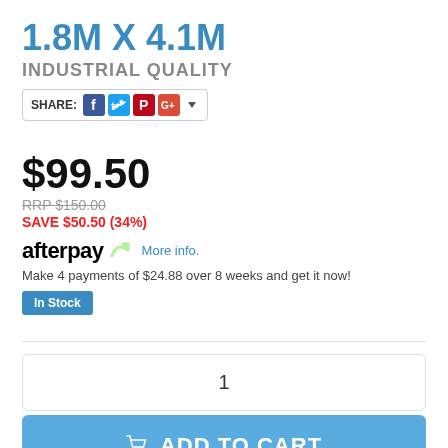1.8M X 4.1M
INDUSTRIAL QUALITY
[Figure (infographic): Share bar with SHARE: label and Facebook, Twitter, Pinterest, Google+ social icons]
$99.50
RRP $150.00
SAVE $50.50 (34%)
[Figure (logo): Afterpay logo with arrow icon and More info. link]
Make 4 payments of $24.88 over 8 weeks and get it now!
In Stock
1
ADD TO CART